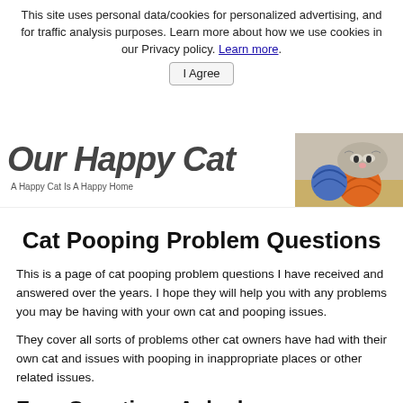This site uses personal data/cookies for personalized advertising, and for traffic analysis purposes. Learn more about how we use cookies in our Privacy policy. Learn more.
I Agree
[Figure (screenshot): Cat Happy Cat website header with logo text 'Our Happy Cat', tagline 'A Happy Cat Is A Happy Home', and a photo of a cat resting on yarn balls]
Cat Pooping Problem Questions
This is a page of cat pooping problem questions I have received and answered over the years. I hope they will help you with any problems you may be having with your own cat and pooping issues.
They cover all sorts of problems other cat owners have had with their own cat and issues with pooping in inappropriate places or other related issues.
Free Questions Asked...